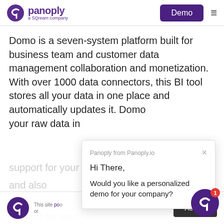panoply — a SQream company | Demo | [menu]
Domo is a seven-system platform built for business team and customer data management collaboration and monetization. With over 1000 data connectors, this BI tool stores all your data in one place and automatically updates it. Domo your raw data in
[Figure (screenshot): Panoply chat popup: 'Panoply from Panoply.io — Hi There, Would you like a personalized demo for your company?']
This site po o or
Accept